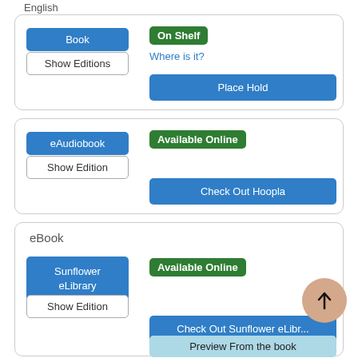English
Book | On Shelf | Where is it? | Place Hold
Show Editions
eAudiobook | Available Online | Show Edition | Check Out Hoopla
eBook
Sunflower eLibrary | Available Online | Show Edition | Check Out Sunflower eLibrary | Preview From the book